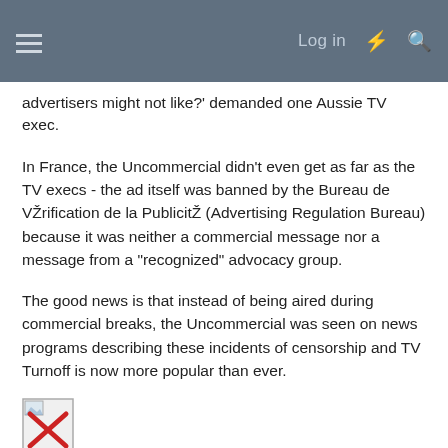Log in
advertisers might not like?' demanded one Aussie TV exec.
In France, the Uncommercial didn't even get as far as the TV execs - the ad itself was banned by the Bureau de VŽrification de la PublicitŽ (Advertising Regulation Bureau) because it was neither a commercial message nor a message from a "recognized" advocacy group.
The good news is that instead of being aired during commercial breaks, the Uncommercial was seen on news programs describing these incidents of censorship and TV Turnoff is now more popular than ever.
[Figure (illustration): Broken image icon — small image placeholder with a red X]
TV TURNOFF WEEK 2002
Set your VCRs to 5PM Eastern on April 18th. We're claiming 30 seconds of black screen on CNN Wolf Blitzer Reports. There